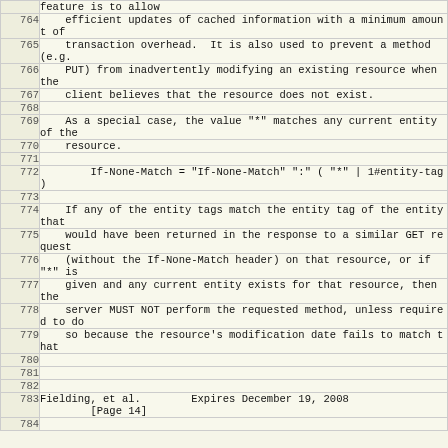|  | feature is to allow |
| 764 |     efficient updates of cached information with a minimum amount of |
| 765 |     transaction overhead.  It is also used to prevent a method (e.g. |
| 766 |     PUT) from inadvertently modifying an existing resource when the |
| 767 |     client believes that the resource does not exist. |
| 768 |  |
| 769 |     As a special case, the value "*" matches any current entity of the |
| 770 |     resource. |
| 771 |  |
| 772 |         If-None-Match = "If-None-Match" ":" ( "*" | 1#entity-tag ) |
| 773 |  |
| 774 |     If any of the entity tags match the entity tag of the entity that |
| 775 |     would have been returned in the response to a similar GET request |
| 776 |     (without the If-None-Match header) on that resource, or if "*" is |
| 777 |     given and any current entity exists for that resource, then the |
| 778 |     server MUST NOT perform the requested method, unless required to do |
| 779 |     so because the resource's modification date fails to match that |
| 780 |  |
| 781 |  |
| 782 |  |
| 783 | Fielding, et al.        Expires December 19, 2008
        [Page 14] |
| 784 |  |